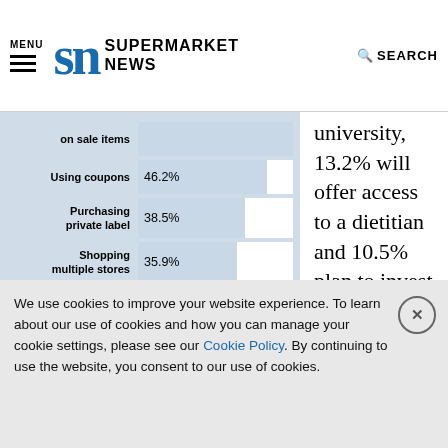MENU | SN SUPERMARKET NEWS | SEARCH
[Figure (bar-chart): Strategies to cope with food prices]
university, 13.2% will offer access to a dietitian and 10.5% plan to invest in a nutrition and exercise program. In Center Store,
We use cookies to improve your website experience. To learn about our use of cookies and how you can manage your cookie settings, please see our Cookie Policy. By continuing to use the website, you consent to our use of cookies.